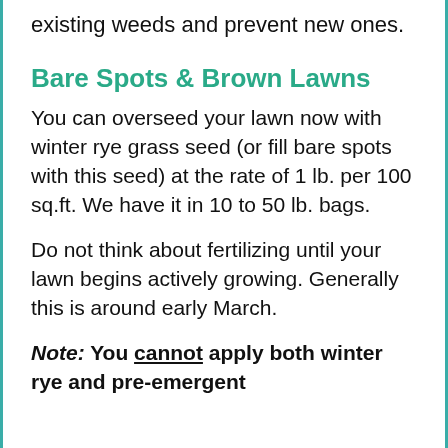existing weeds and prevent new ones.
Bare Spots & Brown Lawns
You can overseed your lawn now with winter rye grass seed (or fill bare spots with this seed) at the rate of 1 lb. per 100 sq.ft. We have it in 10 to 50 lb. bags.
Do not think about fertilizing until your lawn begins actively growing. Generally this is around early March.
Note:  You cannot apply both winter rye and pre-emergent